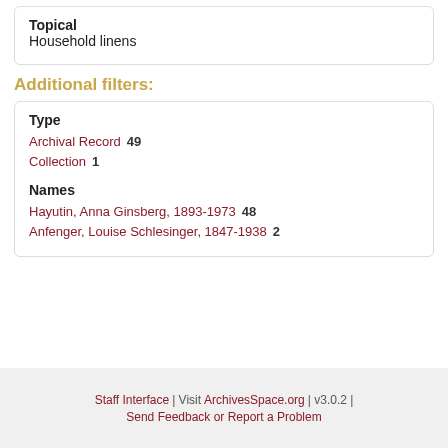Topical
Household linens
Additional filters:
Type
Archival Record  49
Collection  1
Names
Hayutin, Anna Ginsberg, 1893-1973  48
Anfenger, Louise Schlesinger, 1847-1938  2
Staff Interface | Visit ArchivesSpace.org | v3.0.2 | Send Feedback or Report a Problem